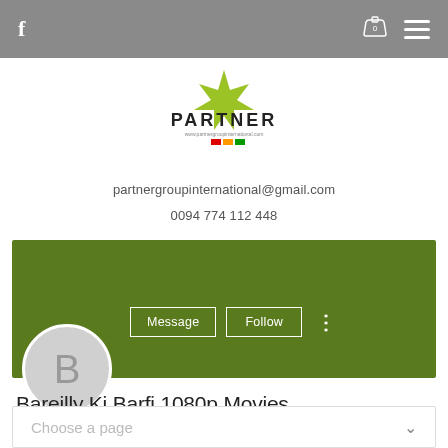f  [cart 0]  [menu]
[Figure (logo): Partner Group International logo with green X star and text PARTNER and website URL, with small flag icons below]
partnergroupinternational@gmail.com
0094 774 112 448
[Figure (screenshot): Green banner profile header with Message and Follow buttons, and a circular avatar with letter B and profile name Bareilly Ki Barfi 1080p Movies... with 0 Followers and 1 Following]
Bareilly Ki Barfi 1080p Movies...
0 Followers • 1 Following
Choose a page